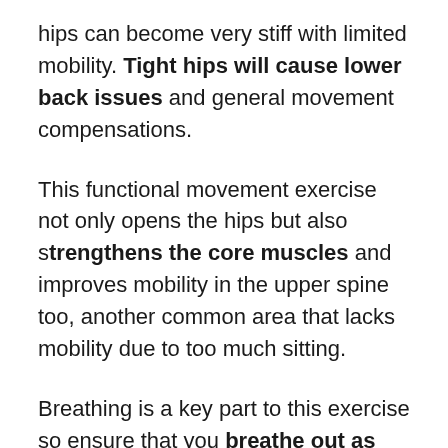hips can become very stiff with limited mobility. Tight hips will cause lower back issues and general movement compensations.
This functional movement exercise not only opens the hips but also strengthens the core muscles and improves mobility in the upper spine too, another common area that lacks mobility due to too much sitting.
Breathing is a key part to this exercise so ensure that you breathe out as you sink your hips down into the movement.